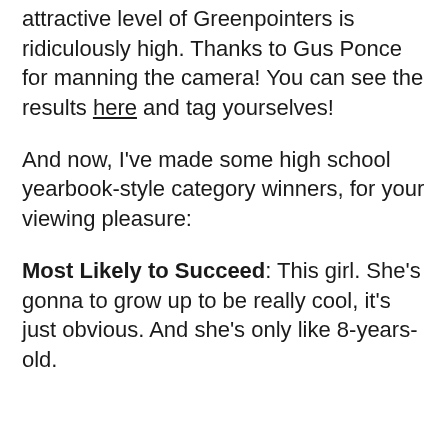attractive level of Greenpointers is ridiculously high. Thanks to Gus Ponce for manning the camera! You can see the results here and tag yourselves!
And now, I've made some high school yearbook-style category winners, for your viewing pleasure:
Most Likely to Succeed: This girl. She's gonna to grow up to be really cool, it's just obvious. And she's only like 8-years-old.